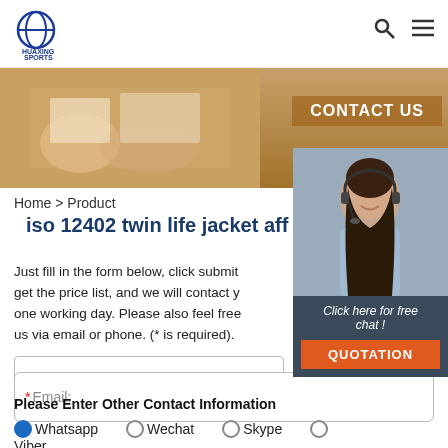HUAXING SPORTS
[Figure (photo): Banner image showing hands on a table with documents, warm brown background with CONTACT US label and 24/7 Online badge]
Home > Product
iso 12402 twin life jacket aff
Just fill in the form below, click submit get the price list, and we will contact y one working day. Please also feel free us via email or phone. (* is required).
* Name:
* Email:
Please Enter Other Contact Information
Whatsapp  Wechat  Skype  (radio) Viber